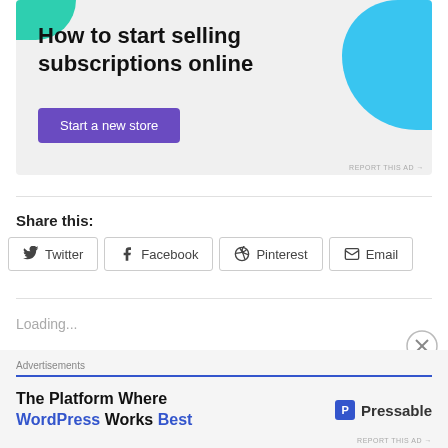[Figure (infographic): Advertisement banner with teal and blue decorative shapes. Headline: 'How to start selling subscriptions online'. Purple button: 'Start a new store'.]
Share this:
Twitter  Facebook  Pinterest  Email
Loading...
[Figure (infographic): Bottom advertisement for Pressable. 'Advertisements' label, blue bar, text: 'The Platform Where WordPress Works Best', Pressable logo on right.]